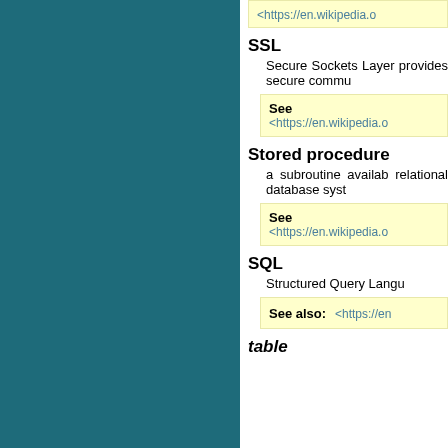<https://en.wikipedia.o
SSL
Secure Sockets Layer provides secure commu
See
<https://en.wikipedia.o
Stored procedure
a subroutine availab relational database syst
See
<https://en.wikipedia.o
SQL
Structured Query Langu
See also: <https://en
table